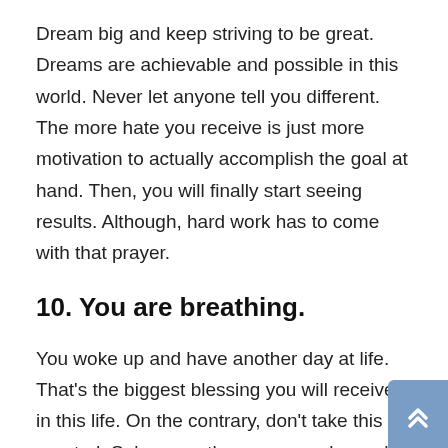Dream big and keep striving to be great. Dreams are achievable and possible in this world. Never let anyone tell you different. The more hate you receive is just more motivation to actually accomplish the goal at hand. Then, you will finally start seeing results. Although, hard work has to come with that prayer.
10. You are breathing.
You woke up and have another day at life. That's the biggest blessing you will receive in this life. On the contrary, don't take this for granted. Subsequently, many people would love to have what you currently have in this life. Because you will